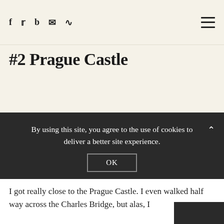Social icons: Facebook, Twitter, Bloglovin, Email, RSS | Menu toggle
#2 Prague Castle
[Figure (photo): Large image area, appears to be a photo related to Prague Castle (image content not visible in this crop)]
By using this site, you agree to the use of cookies to deliver a better site experience.
OK
I got really close to the Prague Castle. I even walked half way across the Charles Bridge, but alas, I…